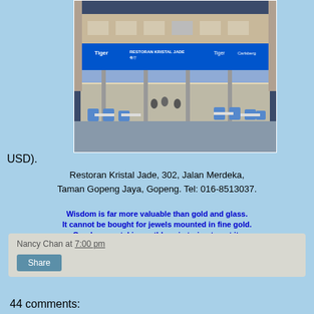[Figure (photo): Exterior night photo of Restoran Kristal Jade restaurant with blue neon signage, outdoor seating with blue chairs and tables, two-story building]
USD).
Restoran Kristal Jade, 302, Jalan Merdeka, Taman Gopeng Jaya, Gopeng. Tel: 016-8513037.
Wisdom is far more valuable than gold and glass. It cannot be bought for jewels mounted in fine gold. Coral or crystal is worthless in trying to get it; its price is far above rubies. (Job 28:17-18, The Living Bible-TLB)
Nancy Chan at 7:00 pm
Share
44 comments: